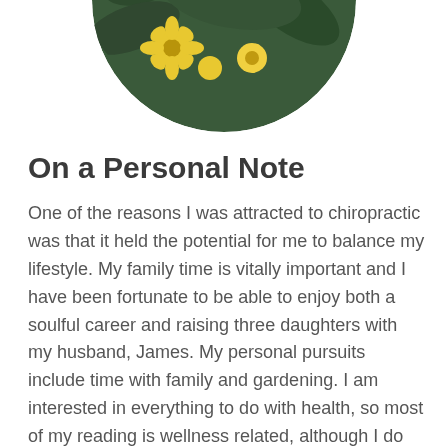[Figure (photo): Circular cropped photo showing yellow flowers and green leaves (sunflowers/garden plants), bottom half of a circular portrait photo visible at the top of the page]
On a Personal Note
One of the reasons I was attracted to chiropractic was that it held the potential for me to balance my lifestyle. My family time is vitally important and I have been fortunate to be able to enjoy both a soulful career and raising three daughters with my husband, James. My personal pursuits include time with family and gardening. I am interested in everything to do with health, so most of my reading is wellness related, although I do enjoy some fiction and biographies. I love music and compile playlists for the office from my personal collection.